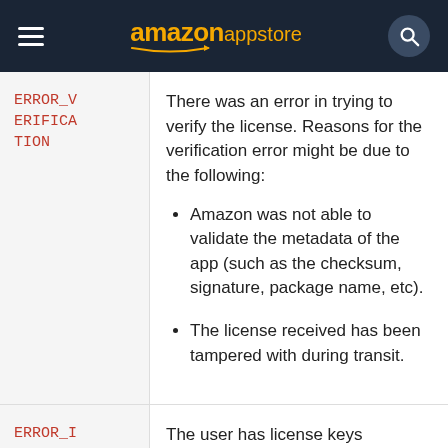amazon appstore
| Code | Description |
| --- | --- |
| ERROR_VERIFICATION | There was an error in trying to verify the license. Reasons for the verification error might be due to the following:
• Amazon was not able to validate the metadata of the app (such as the checksum, signature, package name, etc).
• The license received has been tampered with during transit. |
| ERROR_I | The user has license keys |